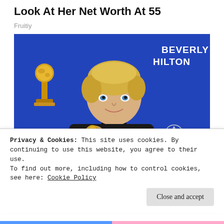Look At Her Net Worth At 55
Fruitiy
[Figure (photo): Person holding a Golden Globe award trophy in front of a blue Beverly Hilton backdrop, with NBC peacock logo visible]
Privacy & Cookies: This site uses cookies. By continuing to use this website, you agree to their use.
To find out more, including how to control cookies, see here: Cookie Policy
Close and accept